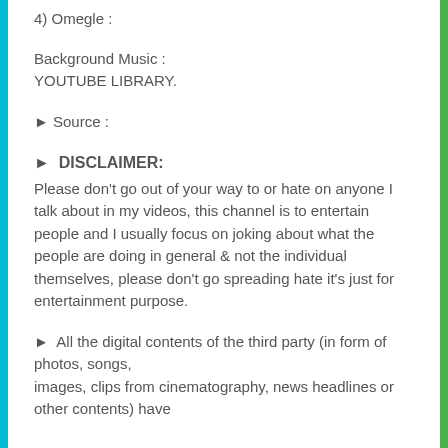4) Omegle :
Background Music :
YOUTUBE LIBRARY.
► Source :
► DISCLAIMER:
Please don't go out of your way to or hate on anyone I talk about in my videos, this channel is to entertain people and I usually focus on joking about what the people are doing in general & not the individual themselves, please don't go spreading hate it's just for entertainment purpose.
► All the digital contents of the third party (in form of photos, songs,
images, clips from cinematography, news headlines or other contents) have